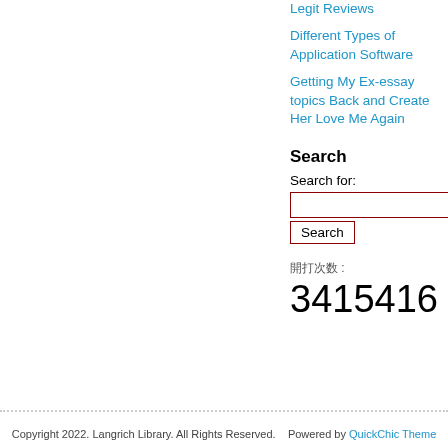Legit Reviews
Different Types of Application Software
Getting My Ex-essay topics Back and Create Her Love Me Again
Search
Search for:
□□□□ :
3415416
Copyright 2022. Langrich Library. All Rights Reserved.    Powered by QuickChic Theme